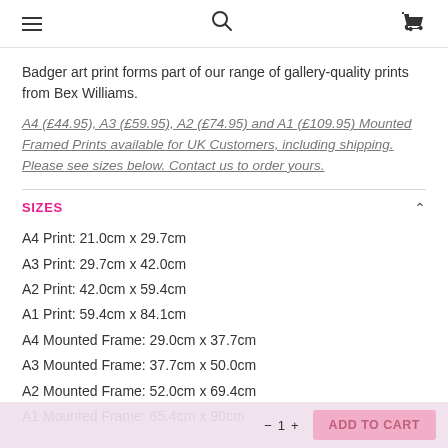Navigation header with hamburger menu, search icon, and cart icon
Badger art print forms part of our range of gallery-quality prints from Bex Williams.
A4 (£44.95), A3 (£59.95), A2 (£74.95) and A1 (£109.95) Mounted Framed Prints available for UK Customers, including shipping. Please see sizes below. Contact us to order yours.
SIZES
A4 Print: 21.0cm x 29.7cm
A3 Print: 29.7cm x 42.0cm
A2 Print: 42.0cm x 59.4cm
A1 Print: 59.4cm x 84.1cm
A4 Mounted Frame: 29.0cm x 37.7cm
A3 Mounted Frame: 37.7cm x 50.0cm
A2 Mounted Frame: 52.0cm x 69.4cm
A1 Mounted Frame: 65.4cm x 90cm